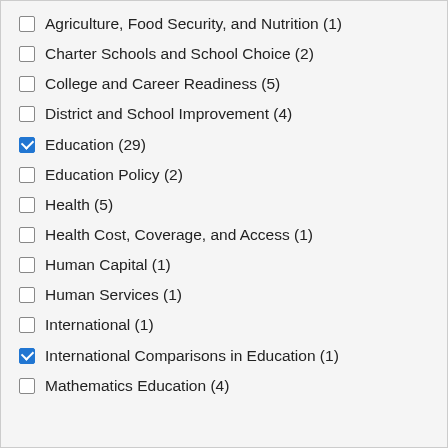Agriculture, Food Security, and Nutrition (1)
Charter Schools and School Choice (2)
College and Career Readiness (5)
District and School Improvement (4)
Education (29)
Education Policy (2)
Health (5)
Health Cost, Coverage, and Access (1)
Human Capital (1)
Human Services (1)
International (1)
International Comparisons in Education (1)
Mathematics Education (4)